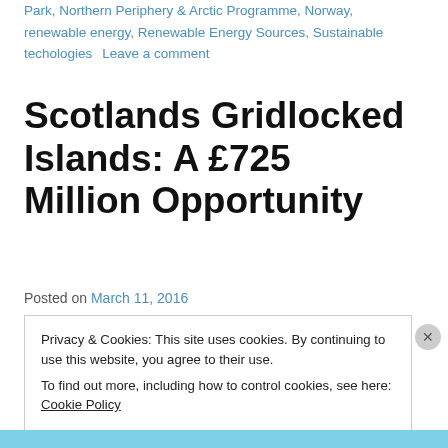Park, Northern Periphery & Arctic Programme, Norway, renewable energy, Renewable Energy Sources, Sustainable techologies    Leave a comment
Scotlands Gridlocked Islands: A £725 Million Opportunity
Posted on March 11, 2016
Privacy & Cookies: This site uses cookies. By continuing to use this website, you agree to their use.
To find out more, including how to control cookies, see here: Cookie Policy
Close and accept